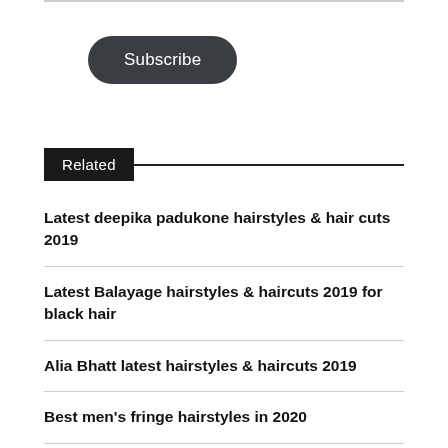[Figure (other): Subscribe button — dark rounded pill-shaped button with white text]
Related
Latest deepika padukone hairstyles & hair cuts 2019
Latest Balayage hairstyles & haircuts 2019 for black hair
Alia Bhatt latest hairstyles & haircuts 2019
Best men's fringe hairstyles in 2020
How to get Lady Gaga's classic cat eye and vintage